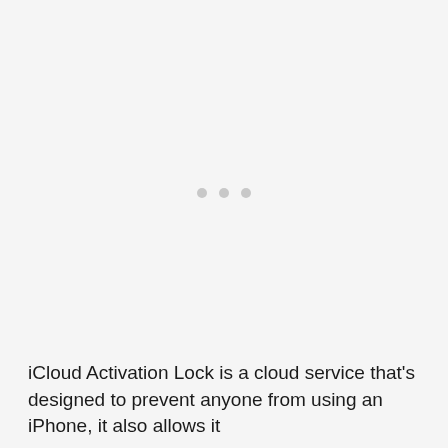[Figure (other): Three light gray dots in a row, resembling a loading indicator]
iCloud Activation Lock is a cloud service that's designed to prevent anyone from using an iPhone, it also allows it